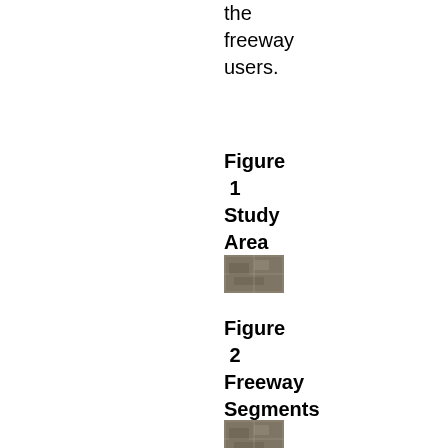the freeway users.
Figure 1 Study Area Map
[Figure (map): Small thumbnail image of Study Area Map]
Figure 2 Freeway Segments under Analysis
[Figure (map): Small thumbnail image of Freeway Segments under Analysis map]